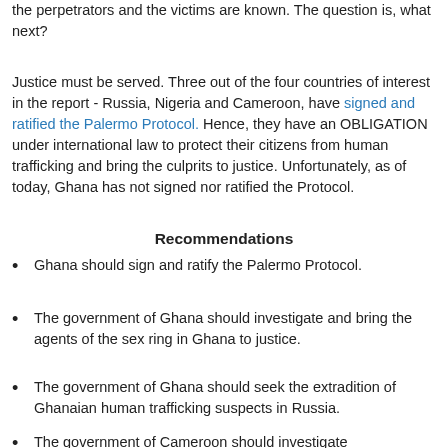the perpetrators and the victims are known. The question is, what next?
Justice must be served. Three out of the four countries of interest in the report - Russia, Nigeria and Cameroon, have signed and ratified the Palermo Protocol. Hence, they have an OBLIGATION under international law to protect their citizens from human trafficking and bring the culprits to justice. Unfortunately, as of today, Ghana has not signed nor ratified the Protocol.
Recommendations
Ghana should sign and ratify the Palermo Protocol.
The government of Ghana should investigate and bring the agents of the sex ring in Ghana to justice.
The government of Ghana should seek the extradition of Ghanaian human trafficking suspects in Russia.
The government of Cameroon should investigate